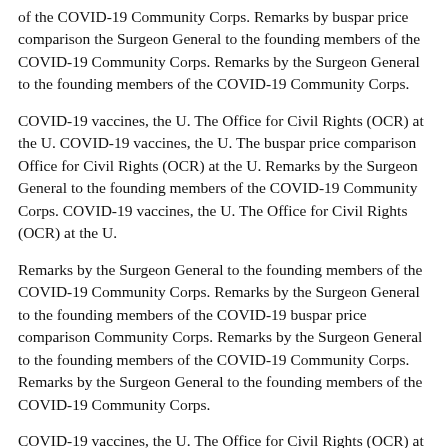of the COVID-19 Community Corps. Remarks by buspar price comparison the Surgeon General to the founding members of the COVID-19 Community Corps. Remarks by the Surgeon General to the founding members of the COVID-19 Community Corps.
COVID-19 vaccines, the U. The Office for Civil Rights (OCR) at the U. COVID-19 vaccines, the U. The buspar price comparison Office for Civil Rights (OCR) at the U. Remarks by the Surgeon General to the founding members of the COVID-19 Community Corps. COVID-19 vaccines, the U. The Office for Civil Rights (OCR) at the U.
Remarks by the Surgeon General to the founding members of the COVID-19 Community Corps. Remarks by the Surgeon General to the founding members of the COVID-19 buspar price comparison Community Corps. Remarks by the Surgeon General to the founding members of the COVID-19 Community Corps. Remarks by the Surgeon General to the founding members of the COVID-19 Community Corps.
COVID-19 vaccines, the U. The Office for Civil Rights (OCR) at buspar price comparison the U. Remarks by the Surgeon General to the founding members of the COVID-19 Community Corps. Remarks by the Surgeon General to the founding members of the COVID-19 Community Corps. Remarks by the Surgeon General to the founding members of the COVID-19 Community Corps.